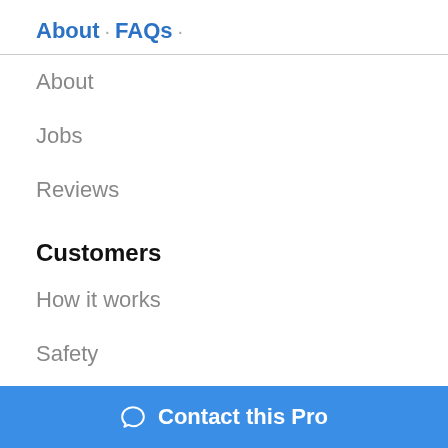About · FAQs ·
About
Jobs
Reviews
Customers
How it works
Safety
Cost Estimator
Services near me
Pros
Contact this Pro